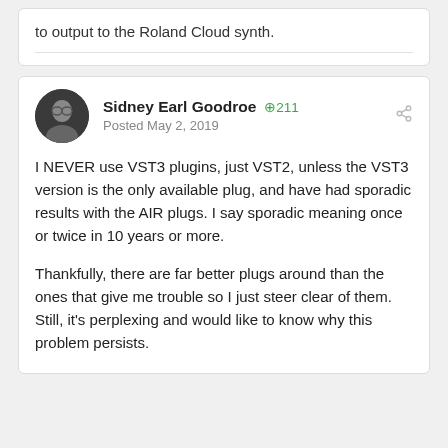to output to the Roland Cloud synth.
Sidney Earl Goodroe  +211
Posted May 2, 2019
I NEVER use VST3 plugins, just VST2, unless the VST3 version is the only available plug, and have had sporadic results with the AIR plugs. I say sporadic meaning once or twice in 10 years or more.
Thankfully,  there are far better plugs around than the ones that give me trouble so I just steer clear of them. Still, it's perplexing and would like to know why this problem persists.